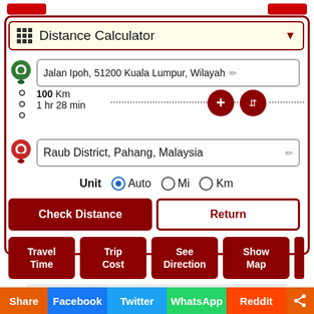[Figure (screenshot): Distance Calculator web widget showing origin 'Jalan Ipoh, 51200 Kuala Lumpur, Wilayah' and destination 'Raub District, Pahang, Malaysia' with distance 100 Km and travel time 1 hr 28 min. Unit selector (Auto selected), Check Distance and Return buttons, and Travel Time / Trip Cost / See Direction / Show Map action buttons.]
Distance Calculator
Jalan Ipoh, 51200 Kuala Lumpur, Wilayah
100 Km
1 hr 28 min
Raub District, Pahang, Malaysia
Unit  Auto  Mi  Km
Check Distance
Return
Travel Time
Trip Cost
See Direction
Show Map
Share  Facebook  Twitter  WhatsApp  Reddit